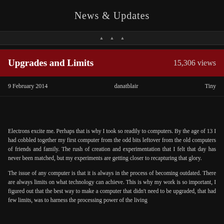News & Updates
Upgrades and Limits
15,306 views
9 February 2014   danatblair   Tiny
Electrons excite me. Perhaps that is why I took so readily to computers. By the age of 13 I had cobbled together my first computer from the odd bits leftover from the old computers of friends and family. The rush of creation and experimentation that I felt that day has never been matched, but my experiments are getting closer to recapturing that glory.
The issue of any computer is that it is always in the process of becoming outdated. There are always limits on what technology can achieve. This is why my work is so important, I figured out that the best way to make a computer that didn't need to be upgraded, that had few limits, was to harness the processing power of the living